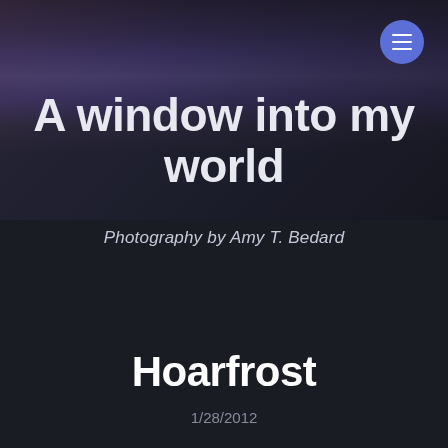[Figure (photo): Dark moody background with gradient from dark blue-purple tones at top transitioning to near-black at bottom]
A window into my world
Photography by Amy T. Bedard
Hoarfrost
1/28/2012